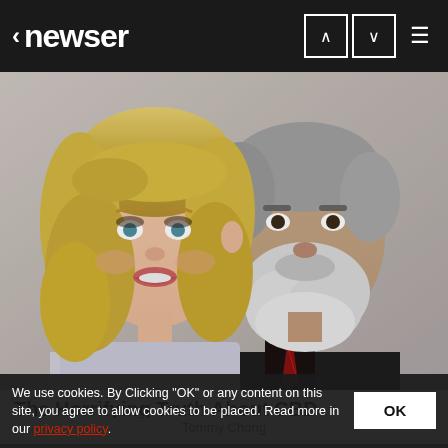< newser
[Figure (photo): Photo of a smiling blonde woman and an older man with white beard wearing a dark blazer and patterned tie, posed together against a light background.]
The Horrifying Truth About CBD
Tommy Chong
We use cookies. By Clicking "OK" or any content on this site, you agree to allow cookies to be placed. Read more in our privacy policy.